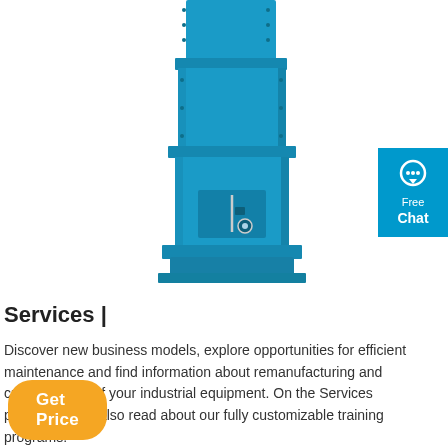[Figure (photo): Blue industrial equipment — a tall rectangular metal unit with bolted panels, a small access door/panel with mechanical components visible in the lower section, painted bright blue.]
Services |
Discover new business models, explore opportunities for efficient maintenance and find information about remanufacturing and customization of your industrial equipment. On the Services pages you can also read about our fully customizable training programs.
Get Price